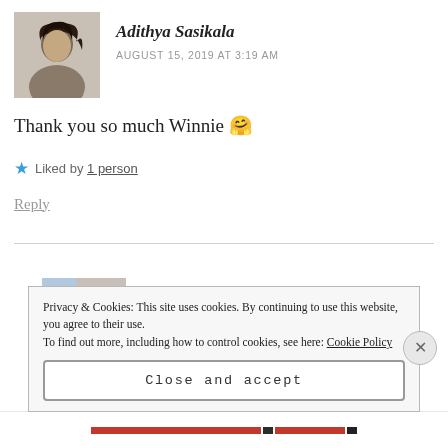[Figure (photo): Profile photo of Adithya Sasikala - woman with dark hair]
Adithya Sasikala
AUGUST 15, 2019 AT 3:19 AM
Thank you so much Winnie 🤗
★ Liked by 1 person
Reply
[Figure (photo): Profile photo of Winnie]
Winnie
Privacy & Cookies: This site uses cookies. By continuing to use this website, you agree to their use.
To find out more, including how to control cookies, see here: Cookie Policy
Close and accept